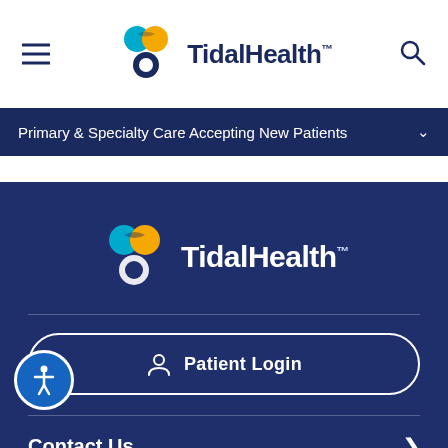[Figure (logo): TidalHealth logo in header — teal, yellow, and dark blue circular interlocking shapes with TidalHealth wordmark]
Primary & Specialty Care Accepting New Patients
[Figure (logo): TidalHealth logo in footer section — teal, yellow, and white circular interlocking shapes with white TidalHealth wordmark]
Patient Login
Contact Us
Find a Doctor
Locations